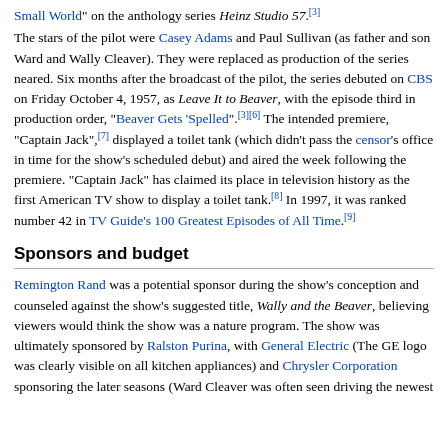Small World" on the anthology series Heinz Studio 57.[3]
The stars of the pilot were Casey Adams and Paul Sullivan (as father and son Ward and Wally Cleaver). They were replaced as production of the series neared. Six months after the broadcast of the pilot, the series debuted on CBS on Friday October 4, 1957, as Leave It to Beaver, with the episode third in production order, "Beaver Gets 'Spelled".[3][6] The intended premiere, "Captain Jack",[7] displayed a toilet tank (which didn't pass the censor's office in time for the show's scheduled debut) and aired the week following the premiere. "Captain Jack" has claimed its place in television history as the first American TV show to display a toilet tank.[8] In 1997, it was ranked number 42 in TV Guide's 100 Greatest Episodes of All Time.[9]
Sponsors and budget
Remington Rand was a potential sponsor during the show's conception and counseled against the show's suggested title, Wally and the Beaver, believing viewers would think the show was a nature program. The show was ultimately sponsored by Ralston Purina, with General Electric (The GE logo was clearly visible on all kitchen appliances) and Chrysler Corporation sponsoring the later seasons (Ward Cleaver was often seen driving the newest